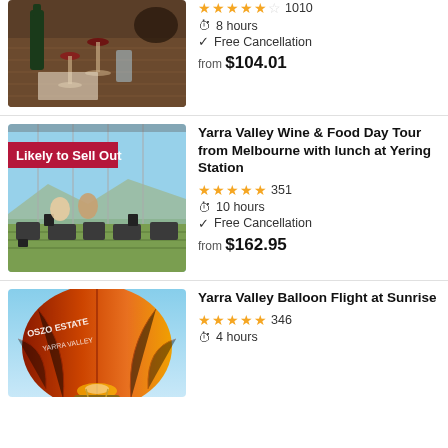[Figure (photo): Wine glasses and bottles on a wooden table at a winery]
★★★★½ 1010
⏱ 8 hours
✓ Free Cancellation
from $104.01
[Figure (photo): Yering Station restaurant with panoramic vineyard view; badge: Likely to Sell Out]
Yarra Valley Wine & Food Day Tour from Melbourne with lunch at Yering Station
★★★★★ 351
⏱ 10 hours
✓ Free Cancellation
from $162.95
[Figure (photo): Hot air balloon with OSZO ESTATE Yarra Valley branding at sunrise]
Yarra Valley Balloon Flight at Sunrise
★★★★★ 346
⏱ 4 hours